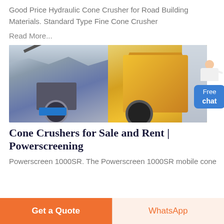Good Price Hydraulic Cone Crusher for Road Building Materials. Standard Type Fine Cone Crusher
Read More...
[Figure (photo): Two photos side by side: left shows a cone crusher machine at a quarry/mining site with rocky background; right shows a yellow impact crusher machine outdoors.]
Cone Crushers for Sale and Rent | Powerscreening
Powerscreen 1000SR. The Powerscreen 1000SR mobile cone
Get a Quote
WhatsApp